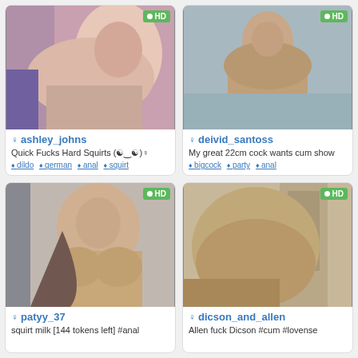[Figure (screenshot): Webcam thumbnail of ashley_johns]
ashley_johns
Quick Fucks Hard Squirts
dildo german anal squirt
[Figure (screenshot): Webcam thumbnail of deivid_santoss]
deivid_santoss
My great 22cm cock wants cum show
bigcock party anal
[Figure (screenshot): Webcam thumbnail of patyy_37]
patyy_37
squirt milk [144 tokens left] #anal
[Figure (screenshot): Webcam thumbnail of dicson_and_allen]
dicson_and_allen
Allen fuck Dicson #cum #lovense